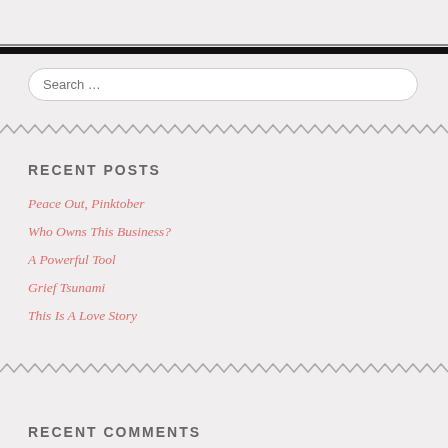Search …
RECENT POSTS
Peace Out, Pinktober
Who Owns This Business?
A Powerful Tool
Grief Tsunami
This Is A Love Story
RECENT COMMENTS